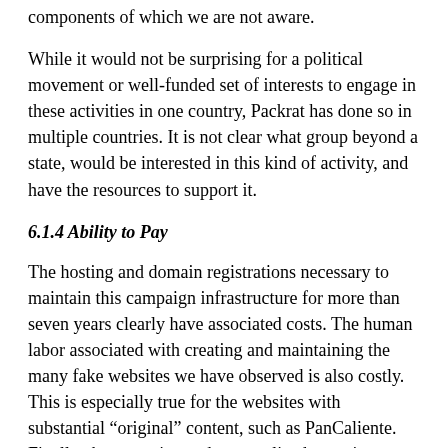components of which we are not aware.
While it would not be surprising for a political movement or well-funded set of interests to engage in these activities in one country, Packrat has done so in multiple countries. It is not clear what group beyond a state, would be interested in this kind of activity, and have the resources to support it.
6.1.4 Ability to Pay
The hosting and domain registrations necessary to maintain this campaign infrastructure for more than seven years clearly have associated costs. The human labor associated with creating and maintaining the many fake websites we have observed is also costly. This is especially true for the websites with substantial “original” content, such as PanCaliente. Finally, the extensive and personalized targeting clearly reflects substantial human effort.
The cost of this campaign suggests that Packrat is either w